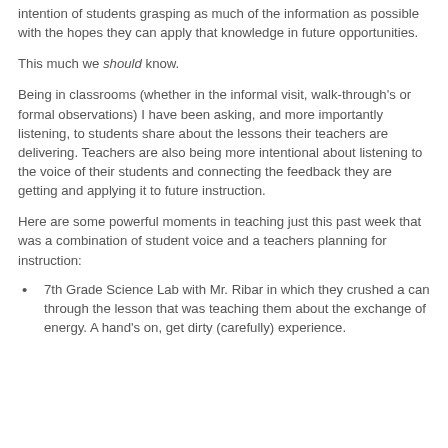intention of students grasping as much of the information as possible with the hopes they can apply that knowledge in future opportunities.
This much we should know.
Being in classrooms (whether in the informal visit, walk-through's or formal observations) I have been asking, and more importantly listening, to students share about the lessons their teachers are delivering. Teachers are also being more intentional about listening to the voice of their students and connecting the feedback they are getting and applying it to future instruction.
Here are some powerful moments in teaching just this past week that was a combination of student voice and a teachers planning for instruction:
7th Grade Science Lab with Mr. Ribar in which they crushed a can through the lesson that was teaching them about the exchange of energy. A hand's on, get dirty (carefully) experience.